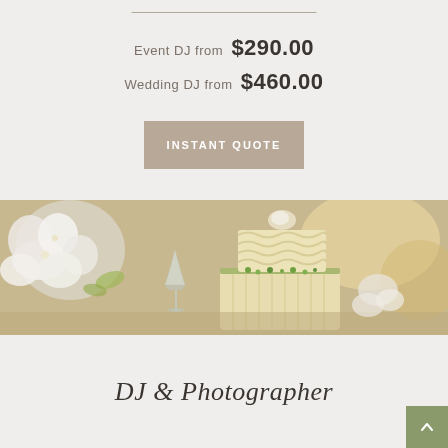Event DJ from  $290.00
Wedding DJ from  $460.00
INSTANT QUOTE
[Figure (photo): Wedding reception table with white floral arrangement, a wine glass, and a multi-tiered wedding cake decorated with green flowers]
DJ & Photographer